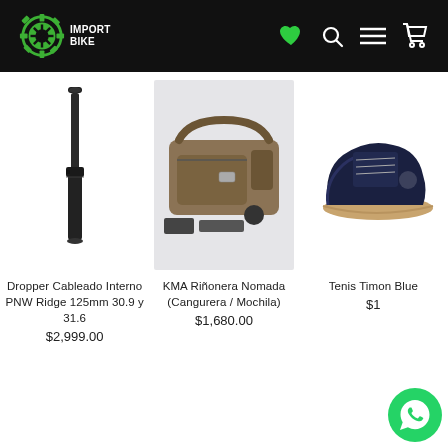IMPORT BIKE — navigation header
[Figure (photo): Dropper Cableado Interno PNW Ridge dropper post, black, vertical orientation]
Dropper Cableado Interno PNW Ridge 125mm 30.9 y 31.6
$2,999.00
[Figure (photo): KMA Riñonera Nomada hip bag / backpack, olive/tan color with accessories]
KMA Riñonera Nomada (Cangurera / Mochila)
$1,680.00
[Figure (photo): Tenis Timon Blue cycling shoes, dark navy with brown sole, partially visible]
Tenis Timon Blue
$1...